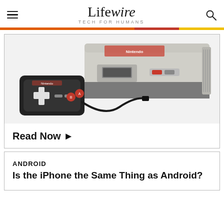Lifewire TECH FOR HUMANS
[Figure (photo): Nintendo Entertainment System console with controller connected by cable, on white background]
Read Now ►
ANDROID
Is the iPhone the Same Thing as Android?